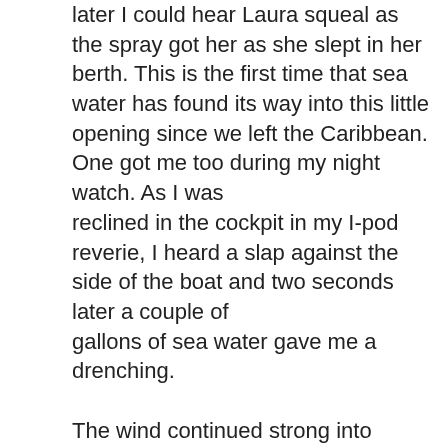later I could hear Laura squeal as the spray got her as she slept in her berth. This is the first time that sea water has found its way into this little opening since we left the Caribbean. One got me too during my night watch. As I was reclined in the cockpit in my I-pod reverie, I heard a slap against the side of the boat and two seconds later a couple of gallons of sea water gave me a drenching.

The wind continued strong into Tuesday night and we put the main sail away altogether, and sailed with a small jib with a reef and a reefed mizzen in order to slow the boat so that we could make a dawn arrival. Turns out that was a mistake. A set of squalls came through around 2 am and in their aftermath the